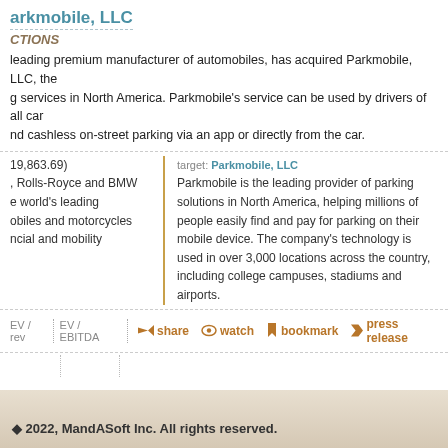arkmobile, LLC
CTIONS
leading premium manufacturer of automobiles, has acquired Parkmobile, LLC, the g services in North America. Parkmobile's service can be used by drivers of all car nd cashless on-street parking via an app or directly from the car.
19,863.69)
, Rolls-Royce and BMW
e world's leading
obiles and motorcycles
ncial and mobility
target: Parkmobile, LLC
Parkmobile is the leading provider of parking solutions in North America, helping millions of people easily find and pay for parking on their mobile device. The company's technology is used in over 3,000 locations across the country, including college campuses, stadiums and airports.
EV / rev   EV / EBITDA   share   watch   bookmark   press release
© 2022, MandASoft Inc. All rights reserved.